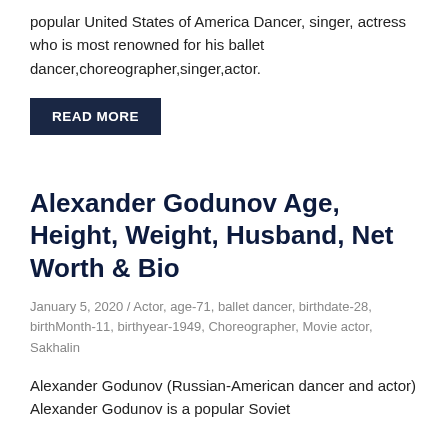popular United States of America Dancer, singer, actress who is most renowned for his ballet dancer,choreographer,singer,actor.
READ MORE
Alexander Godunov Age, Height, Weight, Husband, Net Worth & Bio
January 5, 2020 / Actor, age-71, ballet dancer, birthdate-28, birthMonth-11, birthyear-1949, Choreographer, Movie actor, Sakhalin
Alexander Godunov (Russian-American dancer and actor) Alexander Godunov is a popular Soviet